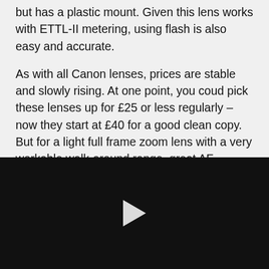but has a plastic mount. Given this lens works with ETTL-II metering, using flash is also easy and accurate.
As with all Canon lenses, prices are stable and slowly rising. At one point, you coud pick these lenses up for £25 or less regularly – now they start at £40 for a good clean copy. But for a light full frame zoom lens with a very workable walk-around range, great AF,
[Figure (other): Embedded video player with dark/black background and a white play button triangle in the center.]